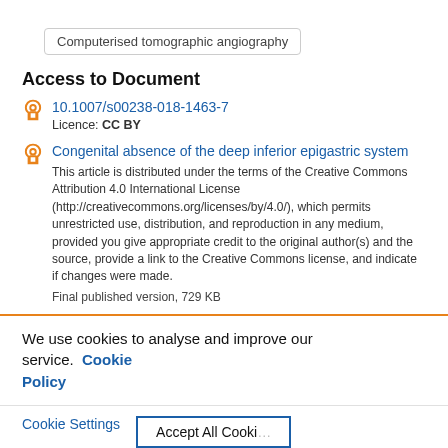Computerised tomographic angiography
Access to Document
10.1007/s00238-018-1463-7
Licence: CC BY
Congenital absence of the deep inferior epigastric system
This article is distributed under the terms of the Creative Commons Attribution 4.0 International License (http://creativecommons.org/licenses/by/4.0/), which permits unrestricted use, distribution, and reproduction in any medium, provided you give appropriate credit to the original author(s) and the source, provide a link to the Creative Commons license, and indicate if changes were made.
Final published version, 729 KB
We use cookies to analyse and improve our service. Cookie Policy
Cookie Settings
Accept All Cookies